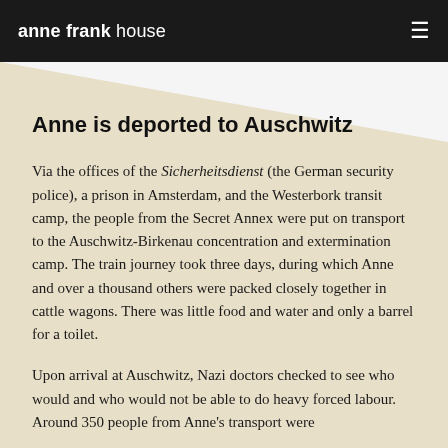anne frank house
Anne is deported to Auschwitz
Via the offices of the Sicherheitsdienst (the German security police), a prison in Amsterdam, and the Westerbork transit camp, the people from the Secret Annex were put on transport to the Auschwitz-Birkenau concentration and extermination camp. The train journey took three days, during which Anne and over a thousand others were packed closely together in cattle wagons. There was little food and water and only a barrel for a toilet.
Upon arrival at Auschwitz, Nazi doctors checked to see who would and who would not be able to do heavy forced labour. Around 350 people from Anne's transport were